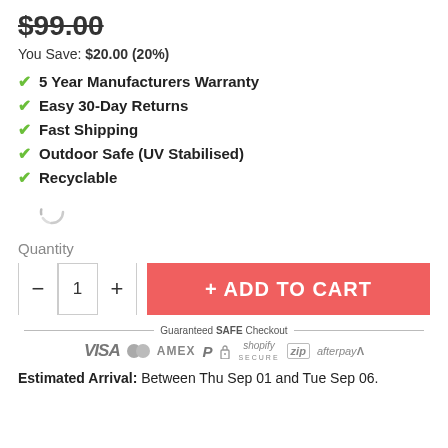$99.00 (strikethrough)
You Save: $20.00 (20%)
5 Year Manufacturers Warranty
Easy 30-Day Returns
Fast Shipping
Outdoor Safe (UV Stabilised)
Recyclable
Quantity
- 1 + ADD TO CART
[Figure (infographic): Guaranteed SAFE Checkout banner with payment icons: VISA, Mastercard, AMEX, PayPal, lock, Shopify Secure, zip, afterpayA7]
Estimated Arrival: Between Thu Sep 01 and Tue Sep 06.